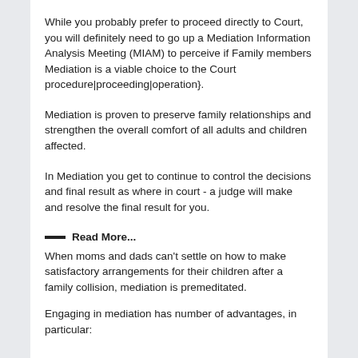While you probably prefer to proceed directly to Court, you will definitely need to go up a Mediation Information Analysis Meeting (MIAM) to perceive if Family members Mediation is a viable choice to the Court procedure|proceeding|operation}.
Mediation is proven to preserve family relationships and strengthen the overall comfort of all adults and children affected.
In Mediation you get to continue to control the decisions and final result as where in court - a judge will make and resolve the final result for you.
— Read More...
When moms and dads can't settle on how to make satisfactory arrangements for their children after a family collision, mediation is premeditated.
Engaging in mediation has number of advantages, in particular: